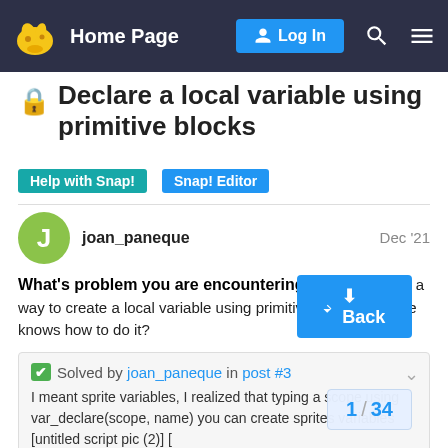Home Page  Log In
Declare a local variable using primitive blocks
Help with Snap!
Snap! Editor
joan_paneque  Dec '21
What's problem you are encountering?
I'm looking for a way to create a local variable using primitive blocks. Anyone knows how to do it?
Solved by joan_paneque in post #3
I meant sprite variables, I realized that typing a scope using var_declare(scope, name) you can create sprites variables [untitled script pic (2)] [
1 / 34